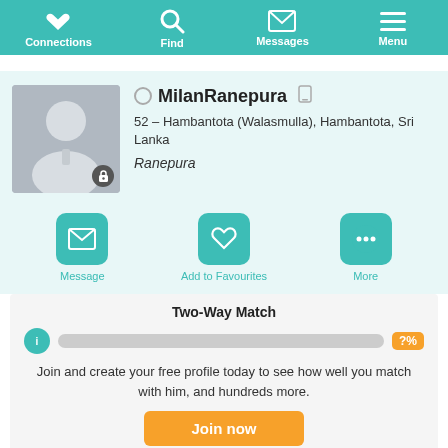Connections | Find | Messages | Menu
MilanRanepura
52 – Hambantota (Walasmulla), Hambantota, Sri Lanka
Ranepura
[Figure (screenshot): Action buttons: Message, Add to Favourites, More]
Two-Way Match
Join and create your free profile today to see how well you match with him, and hundreds more.
Join now
Online: More than 6 months ago